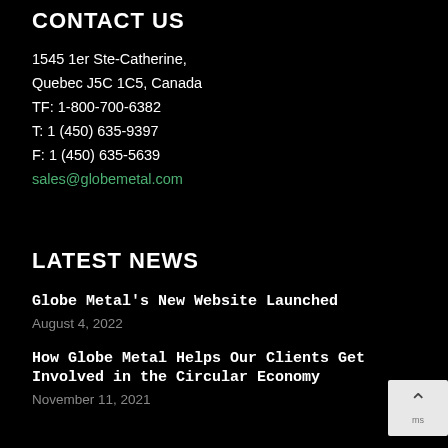CONTACT US
1545 1er Ste-Catherine,
Quebec J5C 1C5, Canada
TF: 1-800-700-6382
T: 1 (450) 635-9397
F: 1 (450) 635-5639
sales@globemetal.com
LATEST NEWS
Globe Metal's New Website Launched
August 4, 2022
How Globe Metal Helps Our Clients Get Involved in the Circular Economy
November 11, 2021